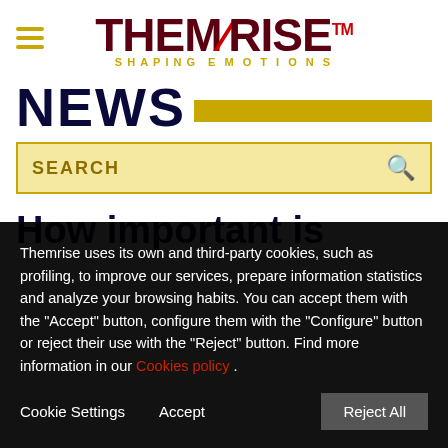[Figure (logo): Themrise logo with hamburger menu icon. Logo text reads THEMRISE with TM superscript in dark red/crimson. Subtitle: SHAPING EMOTIONS in gold/amber.]
NEWS
SEARCH
How important is
Themrise uses its own and third-party cookies, such as profiling, to improve our services, prepare information statistics and analyze your browsing habits. You can accept them with the "Accept" button, configure them with the "Configure" button or reject their use with the "Reject" button. Find more information in our Cookies policy .